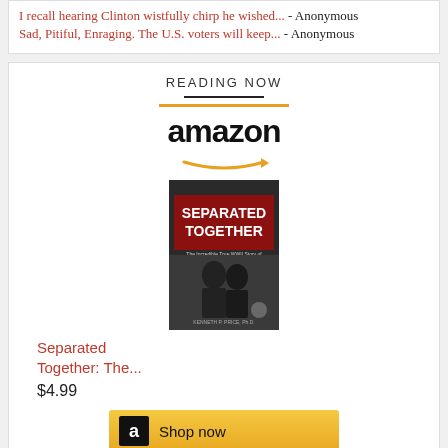I recall hearing Clinton wistfully chirp he wished... - Anonymous
Sad, Pitiful, Enraging. The U.S. voters will keep... - Anonymous
READING NOW
[Figure (other): Amazon logo with orange swoosh arrow and book cover for 'Separated Together' with a Shop now button]
Separated Together: The...
$4.99